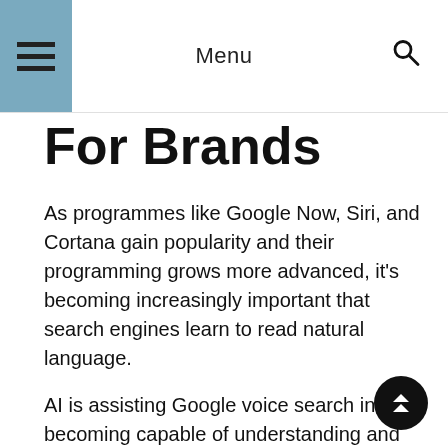Menu
For Brands
As programmes like Google Now, Siri, and Cortana gain popularity and their programming grows more advanced, it's becoming increasingly important that search engines learn to read natural language.
AI is assisting Google voice search in becoming capable of understanding and responding to: It was predicted that the global voice recognition market would rise from $10 billion in 2020 to $27.16 billion in 2026. From 2021 to 2026, the CAGR is expected to be